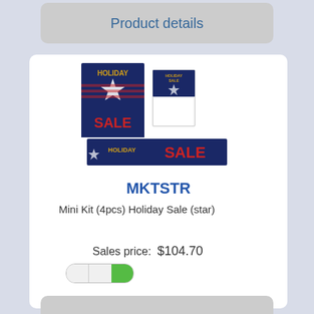Product details
[Figure (illustration): Holiday Sale mini kit product images: large poster with star and US flag design saying 'HOLIDAY SALE', smaller card version, and a wide banner version.]
MKTSTR
Mini Kit (4pcs) Holiday Sale (star)
Sales price: $104.70
[Figure (other): Toggle/slider UI element with green on the right side]
1
Add to Cart